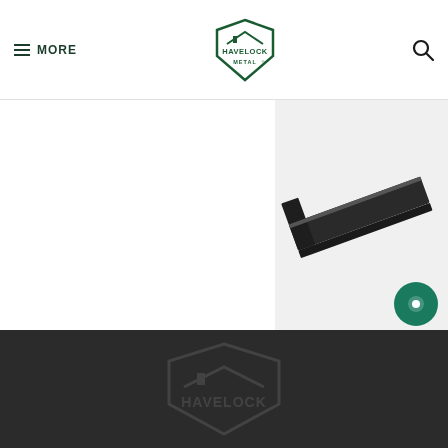MORE | HAVELOCK METAL
[Figure (photo): Dark charcoal/black metal snow stop trim piece, angular L-shaped profile, photographed on white background]
SNOW STOP
Trims & Flashing / Roofing Trims & Flashings
+ COLOURS
DETAILS
HAVELOCK METAL footer logo